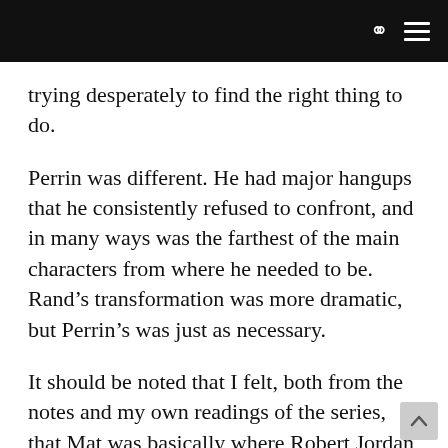trying desperately to find the right thing to do.
Perrin was different. He had major hangups that he consistently refused to confront, and in many ways was the farthest of the main characters from where he needed to be. Rand’s transformation was more dramatic, but Perrin’s was just as necessary.
It should be noted that I felt, both from the notes and my own readings of the series, that Mat was basically where Robert Jordan wanted him to be. This remains true even after I re-looked at Mat and tried to fix my interpretation